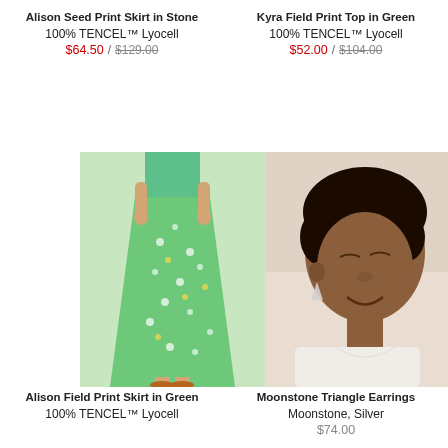Alison Seed Print Skirt in Stone
100% TENCEL™ Lyocell
$64.50 / $129.00
Kyra Field Print Top in Green
100% TENCEL™ Lyocell
$52.00 / $104.00
[Figure (photo): Woman wearing a green floral midi skirt with sandals]
[Figure (photo): Woman wearing white top and moonstone triangle earrings, smiling with eyes closed]
Alison Field Print Skirt in Green
100% TENCEL™ Lyocell
Moonstone Triangle Earrings
Moonstone, Silver
$74.00